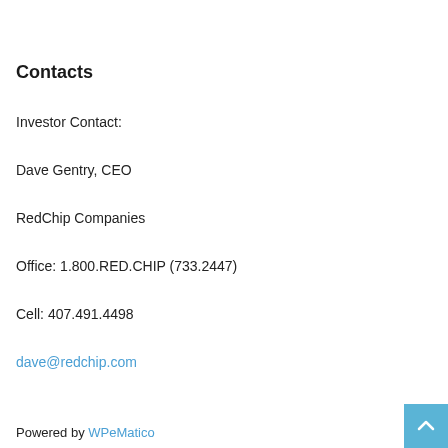Contacts
Investor Contact:
Dave Gentry, CEO
RedChip Companies
Office: 1.800.RED.CHIP (733.2447)
Cell: 407.491.4498
dave@redchip.com
Powered by WPeMatico